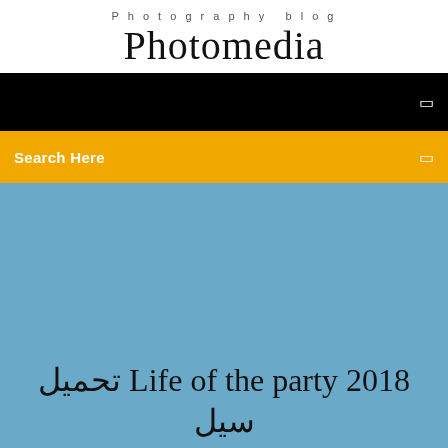Photography blog
Photomedia
[Figure (screenshot): Black navigation bar with white menu icon on right]
Search Here
تحميل Life of the party 2018 سيل